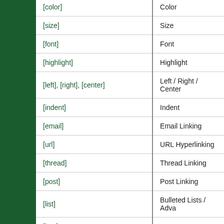| Tag | Description |
| --- | --- |
| [color] | Color |
| [size] | Size |
| [font] | Font |
| [highlight] | Highlight |
| [left], [right], [center] | Left / Right / Center |
| [indent] | Indent |
| [email] | Email Linking |
| [url] | URL Hyperlinking |
| [thread] | Thread Linking |
| [post] | Post Linking |
| [list] | Bulleted Lists / Adva... |
| [img] | Images |
| [video] | Videos |
| [code] | Code |
| [php] | PHP Code |
| [html] | HTML Code |
| [quote] | Quote |